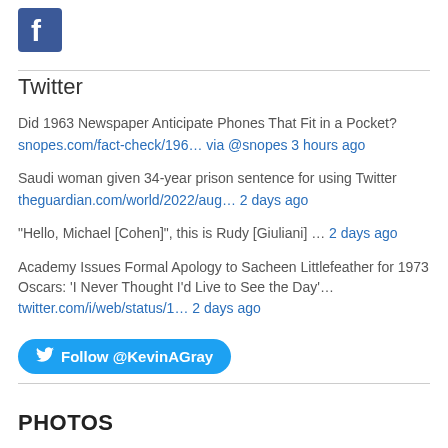[Figure (logo): Facebook logo icon - blue square with white 'f' letter]
Twitter
Did 1963 Newspaper Anticipate Phones That Fit in a Pocket?
snopes.com/fact-check/196… via @snopes 3 hours ago
Saudi woman given 34-year prison sentence for using Twitter
theguardian.com/world/2022/aug… 2 days ago
"Hello, Michael [Cohen]", this is Rudy [Giuliani] … 2 days ago
Academy Issues Formal Apology to Sacheen Littlefeather for 1973 Oscars: 'I Never Thought I'd Live to See the Day'…
twitter.com/i/web/status/1… 2 days ago
Follow @KevinAGray
PHOTOS